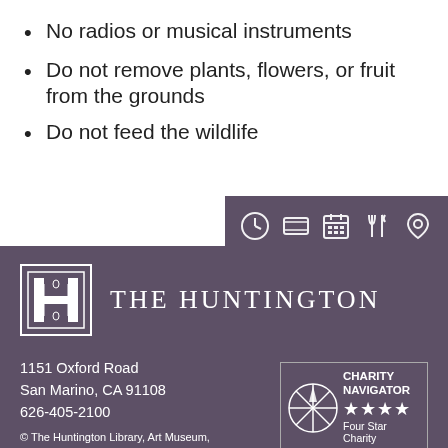No radios or musical instruments
Do not remove plants, flowers, or fruit from the grounds
Do not feed the wildlife
[Figure (infographic): Icon bar with five white icons on dark purple background: clock, ticket/screen, calendar, fork and knife, location pin]
[Figure (logo): The Huntington logo: decorative H in a square border, followed by THE HUNTINGTON text in serif font, all on dark purple background]
1151 Oxford Road
San Marino, CA 91108
626-405-2100
[Figure (logo): Charity Navigator Four Star Charity badge with compass rose icon, stars, and text]
© The Huntington Library, Art Museum,